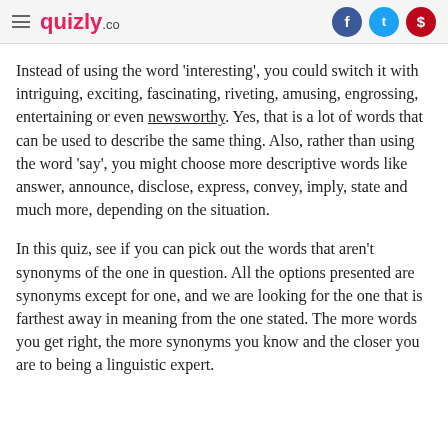quizly.co
Instead of using the word 'interesting', you could switch it with intriguing, exciting, fascinating, riveting, amusing, engrossing, entertaining or even newsworthy. Yes, that is a lot of words that can be used to describe the same thing. Also, rather than using the word 'say', you might choose more descriptive words like answer, announce, disclose, express, convey, imply, state and much more, depending on the situation.
In this quiz, see if you can pick out the words that aren't synonyms of the one in question. All the options presented are synonyms except for one, and we are looking for the one that is farthest away in meaning from the one stated. The more words you get right, the more synonyms you know and the closer you are to being a linguistic expert.